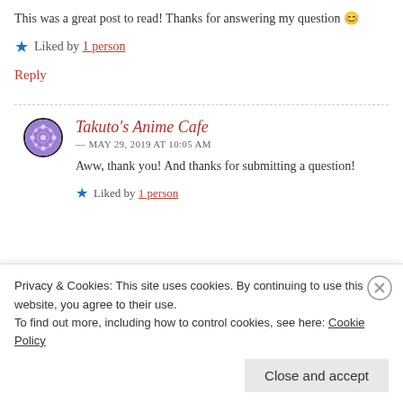This was a great post to read! Thanks for answering my question 😊
★ Liked by 1 person
Reply
Takuto's Anime Cafe — MAY 29, 2019 AT 10:05 AM
Aww, thank you! And thanks for submitting a question!
★ Liked by 1 person
Privacy & Cookies: This site uses cookies. By continuing to use this website, you agree to their use. To find out more, including how to control cookies, see here: Cookie Policy
Close and accept